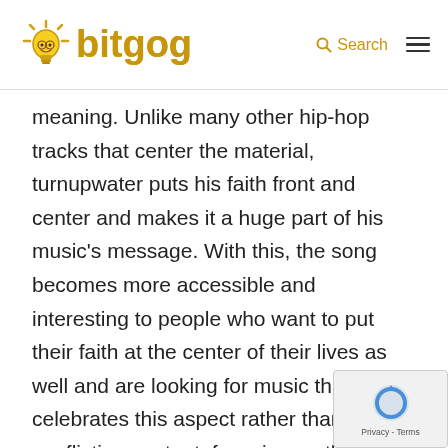bitgog — Search navigation
meaning. Unlike many other hip-hop tracks that center the material, turnupwater puts his faith front and center and makes it a huge part of his music's message. With this, the song becomes more accessible and interesting to people who want to put their faith at the center of their lives as well and are looking for music that celebrates this aspect rather than offers conflicting content, focusing on the material or the shallow. With a new proposition, turnupwater is likely to reach a lot of rap fans who want more meaning in their music and especially those who want spiritually strong tracks.